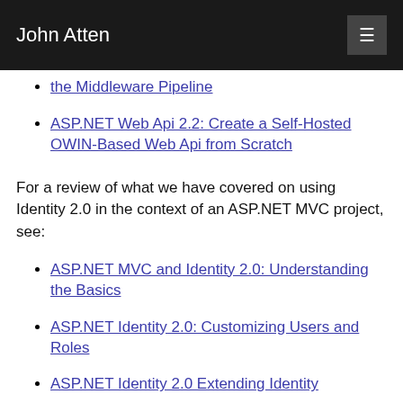John Atten
the Middleware Pipeline
ASP.NET Web Api 2.2: Create a Self-Hosted OWIN-Based Web Api from Scratch
For a review of what we have covered on using Identity 2.0 in the context of an ASP.NET MVC project, see:
ASP.NET MVC and Identity 2.0: Understanding the Basics
ASP.NET Identity 2.0: Customizing Users and Roles
ASP.NET Identity 2.0 Extending Identity